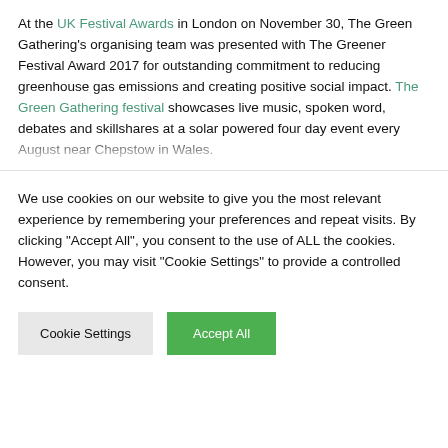At the UK Festival Awards in London on November 30, The Green Gathering's organising team was presented with The Greener Festival Award 2017 for outstanding commitment to reducing greenhouse gas emissions and creating positive social impact. The Green Gathering festival showcases live music, spoken word, debates and skillshares at a solar powered four day event every August near Chepstow in Wales.
Described as 'a festival beyond hedonism' The Green Gathering aims to educate as it entertains. The first festival to recognise glitter as microplastic pollution, the organisers insist glitter, if used, is 100% biodegradable and safe for wildlife and marine life. All food on sale is vegetarian. In 2017 a third of the foodstalls were vegan, all cups and glasses were compostable or reuseable and 73% of the
We use cookies on our website to give you the most relevant experience by remembering your preferences and repeat visits. By clicking "Accept All", you consent to the use of ALL the cookies. However, you may visit "Cookie Settings" to provide a controlled consent.